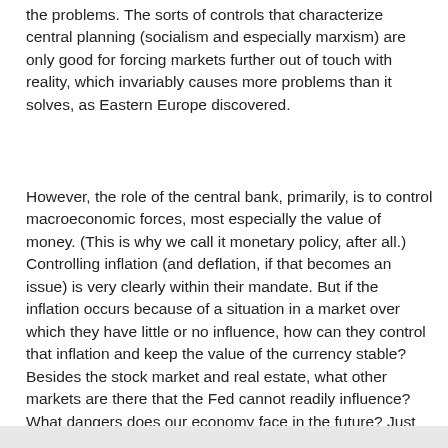the problems. The sorts of controls that characterize central planning (socialism and especially marxism) are only good for forcing markets further out of touch with reality, which invariably causes more problems than it solves, as Eastern Europe discovered.
However, the role of the central bank, primarily, is to control macroeconomic forces, most especially the value of money. (This is why we call it monetary policy, after all.) Controlling inflation (and deflation, if that becomes an issue) is very clearly within their mandate. But if the inflation occurs because of a situation in a market over which they have little or no influence, how can they control that inflation and keep the value of the currency stable? Besides the stock market and real estate, what other markets are there that the Fed cannot readily influence? What dangers does our economy face in the future? Just for instance (and purely *cough* hypothetically, ahem), what if labor becomes significantly overvalued? What kinds of havoc would the resulting market correction wreak?